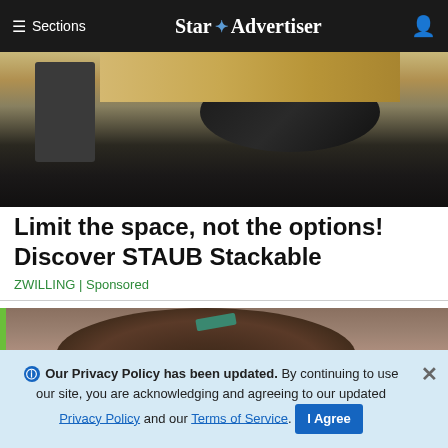≡ Sections  Star ✦ Advertiser
[Figure (photo): Top portion of advertisement image showing kitchen equipment on a wooden surface with dark background]
Limit the space, not the options! Discover STAUB Stackable
ZWILLING | Sponsored
[Figure (photo): Portrait photo of a young woman with an updo hairstyle and a teal hair clip, looking slightly upward]
ℹ Our Privacy Policy has been updated. By continuing to use our site, you are acknowledging and agreeing to our updated Privacy Policy and our Terms of Service. I Agree